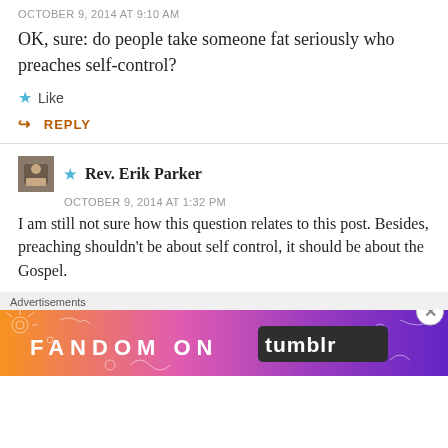OCTOBER 9, 2014 AT 9:10 AM
OK, sure: do people take someone fat seriously who preaches self-control?
Like
REPLY
Rev. Erik Parker
OCTOBER 9, 2014 AT 1:32 PM
I am still not sure how this question relates to this post. Besides, preaching shouldn't be about self control, it should be about the Gospel.
Advertisements
[Figure (illustration): Fandom on Tumblr advertisement banner with colorful orange-to-purple gradient background and white decorative doodles]